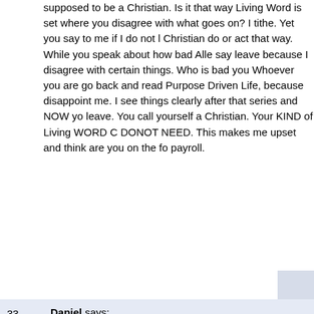supposed to be a Christian. Is it that way Living Word is set where you disagree with what goes on? I tithe. Yet you say to me if I do not like it leave. A Christian do or act that way. While you speak about how bad Allen is, you say leave because I disagree with certain things. Who is bad you or Allen? Whoever you are go back and read Purpose Driven Life, because you disappoint me. I see things clearly after that series and NOW you say leave. You call yourself a Christian. Your KIND of Living WORD Christians DONOT NEED. This makes me upset and think are you on the foundation payroll.
33. Daniel says: July 15th, 2011 at 8:44 am — poor baby had to validate himself by writing a letter
34. Delilah says: July 15th, 2011 at 9:23 am — its not win or lose, its how you play the blame
35. Justin says: July 15th, 2011 at 2:33 pm